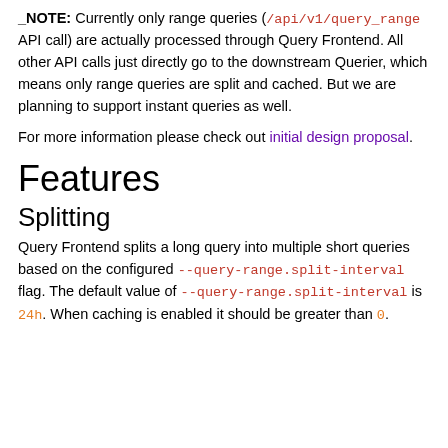_NOTE: Currently only range queries (/api/v1/query_range API call) are actually processed through Query Frontend. All other API calls just directly go to the downstream Querier, which means only range queries are split and cached. But we are planning to support instant queries as well.
For more information please check out initial design proposal.
Features
Splitting
Query Frontend splits a long query into multiple short queries based on the configured --query-range.split-interval flag. The default value of --query-range.split-interval is 24h. When caching is enabled it should be greater than 0.